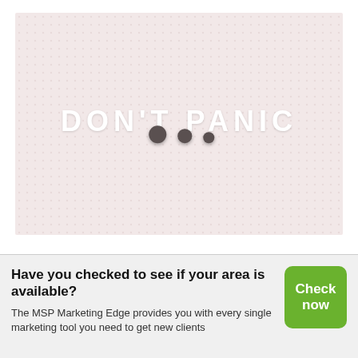[Figure (photo): A pink pegboard with 'DON'T PANIC' written in white bold letters, with three dark round pins/pegs below the text arranged in a row.]
Have you checked to see if your area is available?
The MSP Marketing Edge provides you with every single marketing tool you need to get new clients